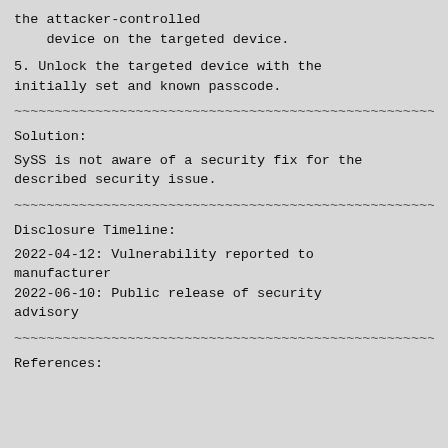the attacker-controlled
    device on the targeted device.
5. Unlock the targeted device with the
initially set and known passcode.
~~~~~~~~~~~~~~~~~~~~~~~~~~~~~~~~~~~~~~~~~~~~~~~~~~~~
Solution:
SySS is not aware of a security fix for the
described security issue.
~~~~~~~~~~~~~~~~~~~~~~~~~~~~~~~~~~~~~~~~~~~~~~~~~~~~
Disclosure Timeline:
2022-04-12: Vulnerability reported to
manufacturer
2022-06-10: Public release of security
advisory
~~~~~~~~~~~~~~~~~~~~~~~~~~~~~~~~~~~~~~~~~~~~~~~~~~~~
References: